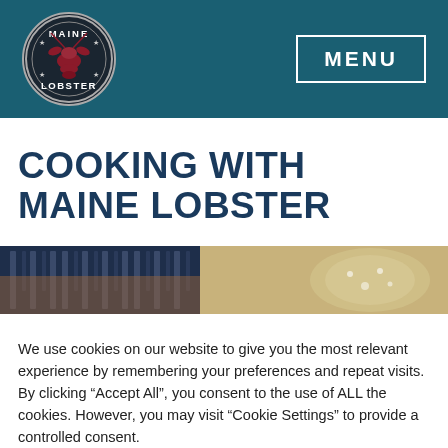[Figure (logo): Maine Lobster circular logo with lobster illustration and text MAINE LOBSTER around the border]
MENU
COOKING WITH MAINE LOBSTER
[Figure (photo): Horizontal photo strip showing hands working with what appears to be a lobster or seafood dish]
We use cookies on our website to give you the most relevant experience by remembering your preferences and repeat visits. By clicking “Accept All”, you consent to the use of ALL the cookies. However, you may visit "Cookie Settings" to provide a controlled consent.
Cookie Settings
Accept All